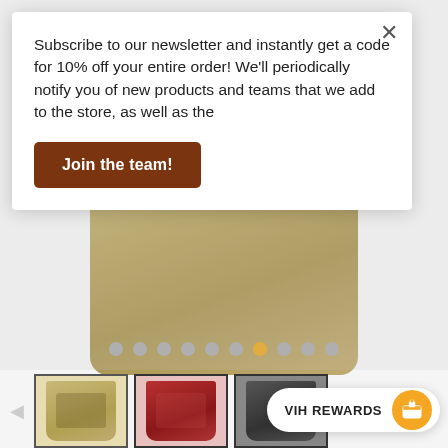[Figure (photo): Main product view: khaki/tan colored t-shirt displayed as product image, with carousel navigation dots below]
Subscribe to our newsletter and instantly get a code for 10% off your entire order! We'll periodically notify you of new products and teams that we add to the store, as well as the
Join the team!
[Figure (photo): Thumbnail row showing three t-shirt product thumbnails: khaki/tan (selected, with border), red/crimson, and dark gray shirts. Arrow navigation on left and right sides.]
VIH REWARDS